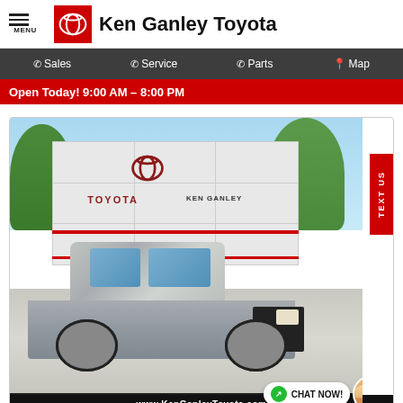Ken Ganley Toyota
Sales  Service  Parts  Map
Open Today! 9:00 AM - 8:00 PM
[Figure (photo): Toyota Tacoma silver truck parked in front of Ken Ganley Toyota dealership building, with Toyota and Ken Ganley signage visible.]
Text LM351074 to 96300 for more information
CHAT NOW!
TEXT US
www.KenGanleyToyota.com